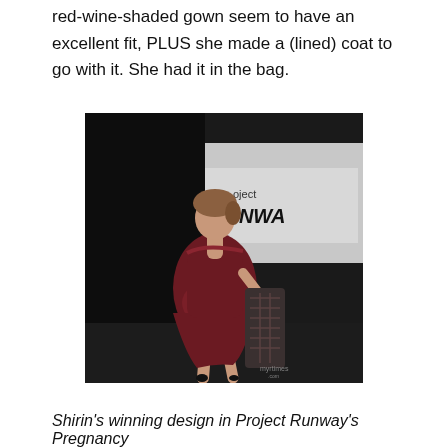red-wine-shaded gown seem to have an excellent fit, PLUS she made a (lined) coat to go with it. She had it in the bag.
[Figure (photo): A pregnant woman wearing a dark red/wine-colored sleeveless draped gown on a runway, carrying a patterned coat. A 'Project Runway' logo sign is visible in the background. The setting is a dark fashion runway stage.]
Shirin's winning design in Project Runway's Pregnancy